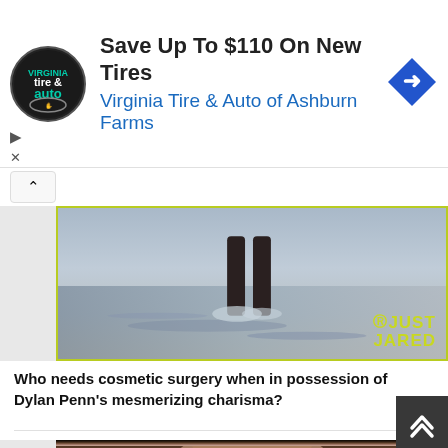[Figure (screenshot): Advertisement banner: Virginia Tire & Auto logo (circular black badge), text 'Save Up To $110 On New Tires' and 'Virginia Tire & Auto of Ashburn Farms', blue navigation diamond icon on right. Play and X controls below left.]
[Figure (photo): Beach photo showing feet/legs in shallow water, with a Just Jared watermark in yellow-green in the bottom right corner. Photo has a green-yellow border.]
Who needs cosmetic surgery when in possession of Dylan Penn's mesmerizing charisma?
[Figure (photo): Portrait photo of a young woman with light brown hair, looking at the camera, dark background. Partially visible at the bottom of the page.]